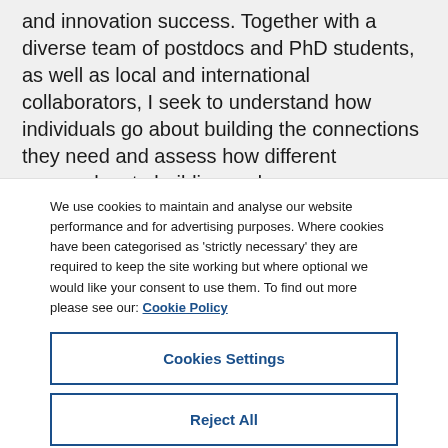and innovation success. Together with a diverse team of postdocs and PhD students, as well as local and international collaborators, I seek to understand how individuals go about building the connections they need and assess how different approaches to building and
We use cookies to maintain and analyse our website performance and for advertising purposes. Where cookies have been categorised as 'strictly necessary' they are required to keep the site working but where optional we would like your consent to use them. To find out more please see our: Cookie Policy
Cookies Settings
Reject All
Accept All Cookies